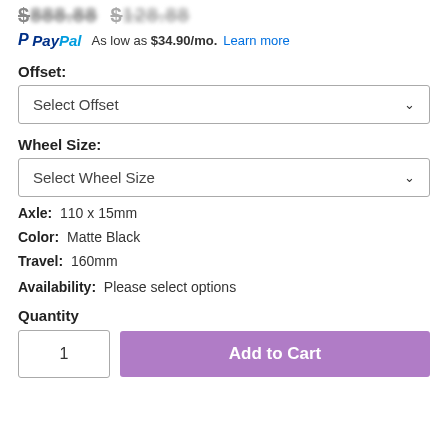$$$.$$ $1$$.$$ (price, partially visible)
PayPal  As low as $34.90/mo.  Learn more
Offset:
Select Offset
Wheel Size:
Select Wheel Size
Axle:  110 x 15mm
Color:  Matte Black
Travel:  160mm
Availability:  Please select options
Quantity
1
Add to Cart